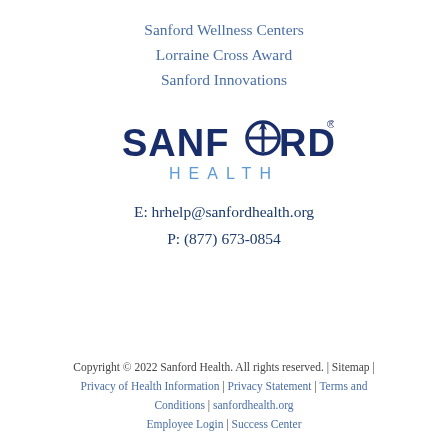Sanford Wellness Centers
Lorraine Cross Award
Sanford Innovations
[Figure (logo): Sanford Health logo with 'SANFORD' in dark navy and a compass/cross symbol replacing the 'O', and 'HEALTH' in spaced light blue lettering below]
E: hrhelp@sanfordhealth.org
P: (877) 673-0854
Copyright © 2022 Sanford Health. All rights reserved. | Sitemap | Privacy of Health Information | Privacy Statement | Terms and Conditions | sanfordhealth.org Employee Login | Success Center